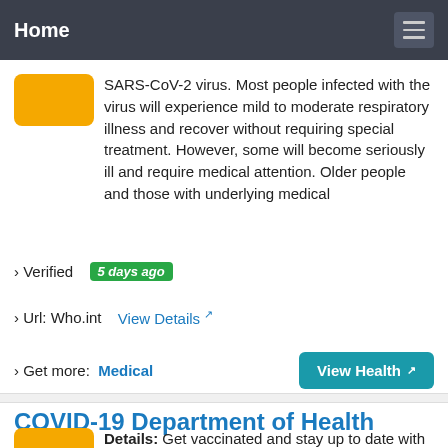Home
SARS-CoV-2 virus. Most people infected with the virus will experience mild to moderate respiratory illness and recover without requiring special treatment. However, some will become seriously ill and require medical attention. Older people and those with underlying medical
› Verified  5 days ago
› Url: Who.int  View Details
› Get more:  Medical
COVID-19 Department of Health
Details: Get vaccinated and stay up to date with all recommended doses. All New